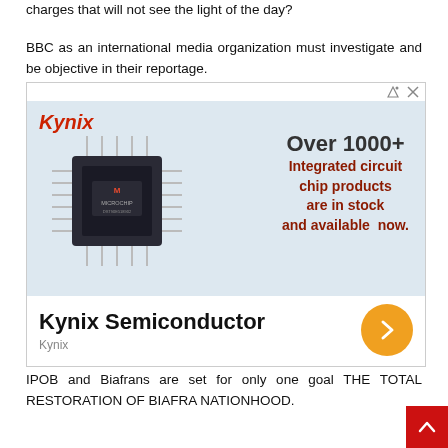charges that will not see the light of the day?
BBC as an international media organization must investigate and be objective in their reportage.
[Figure (other): Advertisement for Kynix Semiconductor showing a Microchip integrated circuit chip on a blue background, with text 'Over 1000+ Integrated circuit chip products are in stock and available now.' and Kynix logo. Below shows 'Kynix Semiconductor' with an orange arrow button and 'Kynix' subtitle.]
IPOB and Biafrans are set for only one goal THE TOTAL RESTORATION OF BIAFRA NATIONHOOD.